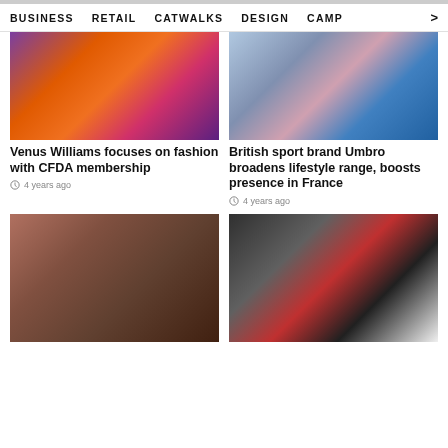BUSINESS  RETAIL  CATWALKS  DESIGN  CAMP >
[Figure (photo): Fashion photo showing models in colorful dresses with orange and floral prints]
Venus Williams focuses on fashion with CFDA membership
4 years ago
[Figure (photo): People wearing Umbro branded sportswear in patterned and denim styles]
British sport brand Umbro broadens lifestyle range, boosts presence in France
4 years ago
[Figure (photo): Chelsea boots displayed on wooden crates against a terracotta background]
[Figure (photo): Group of young people wearing Umbro branded clothing and jackets]